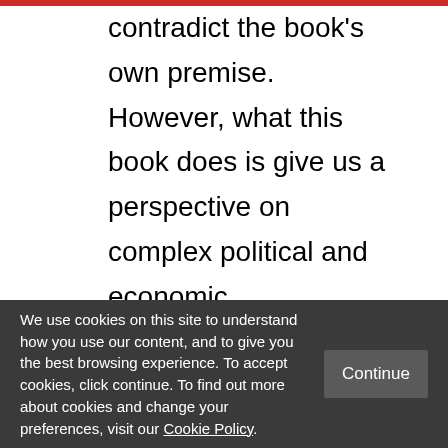with no definite solution, as this would contradict the book's own premise. However, what this book does is give us a perspective on complex political and economic phenomena, while engaging in a central debate about economic development. It is a refreshing take on a theoretical level regarding whether economics should focus less on results and more on understanding the links between cause and effect, and on a
We use cookies on this site to understand how you use our content, and to give you the best browsing experience. To accept cookies, click continue. To find out more about cookies and change your preferences, visit our Cookie Policy.